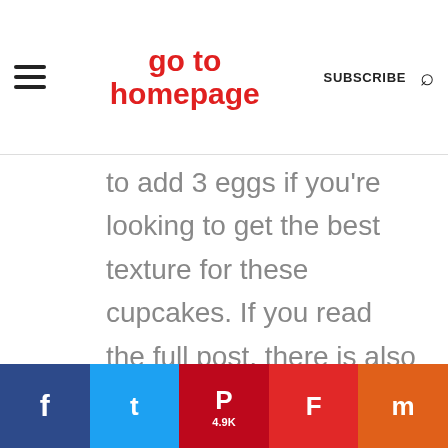go to homepage | SUBSCRIBE
to add 3 eggs if you're looking to get the best texture for these cupcakes. If you read the full post, there is also a section for egg replacement option
f | tweet | P 4.9K | F | m